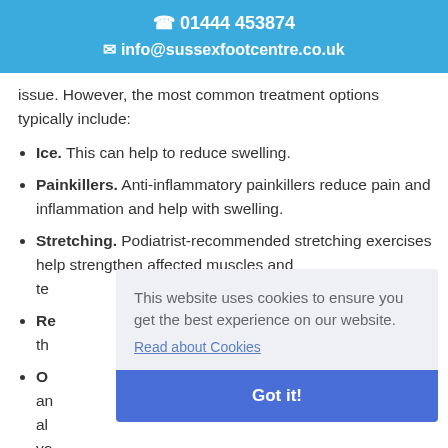01444 453874
info@sussexfootcentre.co.uk
issue. However, the most common treatment options typically include:
Ice. This can help to reduce swelling.
Painkillers. Anti-inflammatory painkillers reduce pain and inflammation and help with swelling.
Stretching. Podiatrist-recommended stretching exercises help strengthen affected muscles and te[ndons]
Re[st...] th[...]
Or[thotic insoles...] an[d...] al[so...] yo[ur...]
If you are struggling with pain in the base of...
This website uses cookies to ensure you get the best experience on our website.
Read about Cookies
Got it!